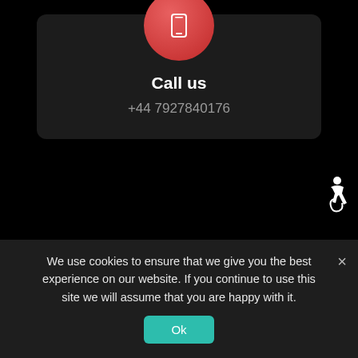[Figure (illustration): Red circle with white smartphone icon]
Call us
+44 7927840176
[Figure (illustration): Red circle with white link/chain icon]
[Figure (illustration): White wheelchair accessibility icon on dark background]
We use cookies to ensure that we give you the best experience on our website. If you continue to use this site we will assume that you are happy with it.
Ok